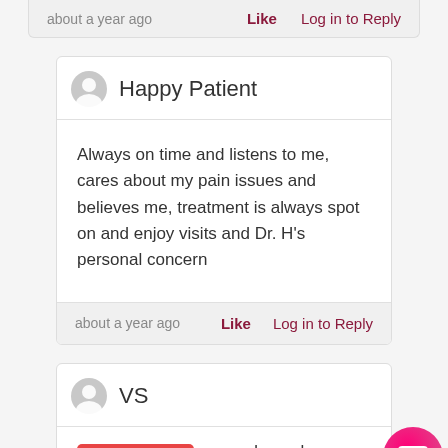about a year ago
Like   Log in to Reply
Happy Patient
Always on time and listens to me, cares about my pain issues and believes me, treatment is always spot on and enjoy visits and Dr. H's personal concern
about a year ago
Like   Log in to Reply
VS
Report Issue
e good people. Always friendly,